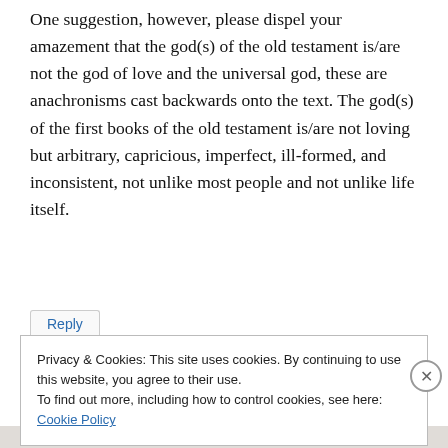One suggestion, however, please dispel your amazement that the god(s) of the old testament is/are not the god of love and the universal god, these are anachronisms cast backwards onto the text. The god(s) of the first books of the old testament is/are not loving but arbitrary, capricious, imperfect, ill-formed, and inconsistent, not unlike most people and not unlike life itself.
Reply
Privacy & Cookies: This site uses cookies. By continuing to use this website, you agree to their use.
To find out more, including how to control cookies, see here:
Cookie Policy
Close and accept